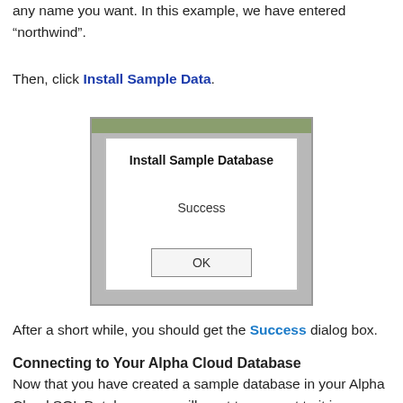any name you want. In this example, we have entered "northwind".
Then, click Install Sample Data.
[Figure (screenshot): A dialog box titled 'Install Sample Database' showing a 'Success' message and an OK button. The dialog has a green title bar, gray outer frame, and white inner area.]
After a short while, you should get the Success dialog box.
Connecting to Your Alpha Cloud Database
Now that you have created a sample database in your Alpha Cloud SQL Database, you will want to connect to it in your Alpha Anywhere application. In order to do this, you will